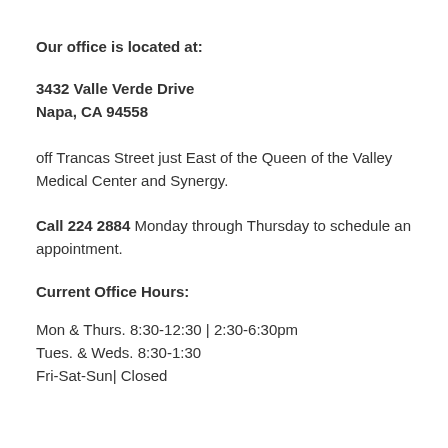Our office is located at:
3432 Valle Verde Drive
Napa, CA 94558
off Trancas Street just East of the Queen of the Valley Medical Center and Synergy.
Call 224 2884 Monday through Thursday to schedule an appointment.
Current Office Hours:
Mon & Thurs. 8:30-12:30 | 2:30-6:30pm
Tues. & Weds. 8:30-1:30
Fri-Sat-Sun| Closed